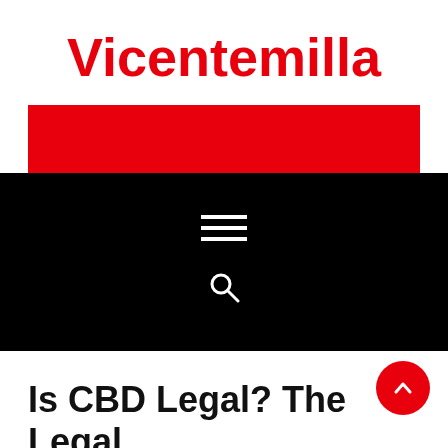Vicentemilla
[Figure (other): Red horizontal banner bar]
Navigation bar with hamburger menu icon and search icon on black background
Is CBD Legal? The Legal